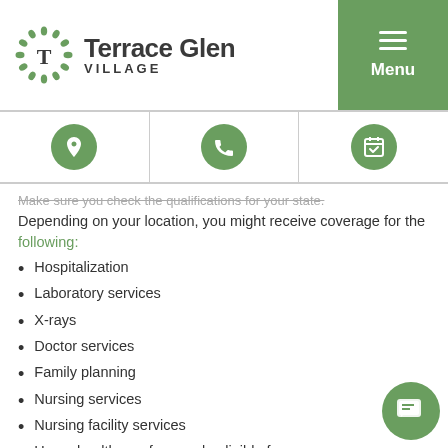[Figure (logo): Terrace Glen Village logo with circular leaf/dot emblem and text 'Terrace Glen VILLAGE']
[Figure (screenshot): Green menu button with three horizontal lines and 'Menu' label]
[Figure (infographic): Navigation icon bar with three green circles: location pin, phone, and calendar/checkmark icons]
Make sure you check the qualifications for your state. Depending on your location, you might receive coverage for the following:
Hospitalization
Laboratory services
X-rays
Doctor services
Family planning
Nursing services
Nursing facility services
Home healthcare for people eligible for nursing facility services
Clinic treatment